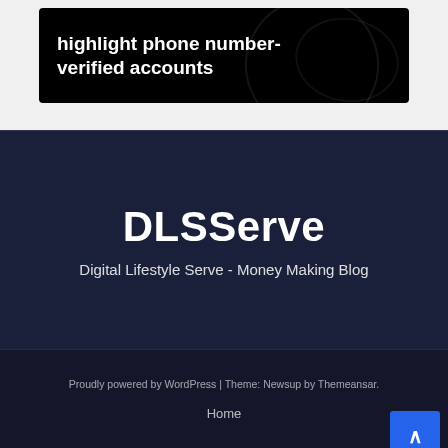[Figure (screenshot): Dark card image with white bold text reading 'highlight phone number-verified accounts' on a black background with decorative circular lines]
DLSServe
Digital Lifestyle Serve - Money Making Blog
Proudly powered by WordPress | Theme: Newsup by Themeansar.
Home